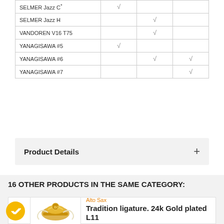|  |  |  |  |
| --- | --- | --- | --- |
| SELMER Jazz C* | √ |  |  |
| SELMER Jazz H |  | √ |  |
| VANDOREN V16 T75 |  | √ |  |
| YANAGISAWA #5 | √ |  |  |
| YANAGISAWA #6 |  | √ | √ |
| YANAGISAWA #7 |  |  | √ |
Product Details +
16 OTHER PRODUCTS IN THE SAME CATEGORY:
Alto Sax
Tradition ligature. 24k Gold plated L11